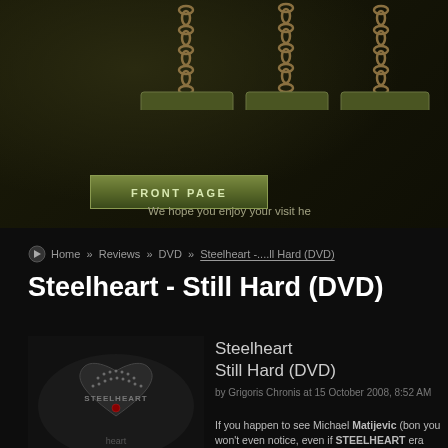Navigation header with Music, Live, News tabs and META logo
Home » Reviews » DVD » Steelheart -....ll Hard (DVD)
Steelheart - Still Hard (DVD)
[Figure (photo): Album cover for Steelheart Still Hard DVD showing a leather jacket with a studded heart design and STEELHEART text]
Steelheart
Still Hard (DVD)
by Grigoris Chronis at 15 October 2008, 8:52 AM
If you happen to see Michael Matijevic (bon you won't even notice, even if STEELHEART era bands and songs like Can't Stop Me Lo